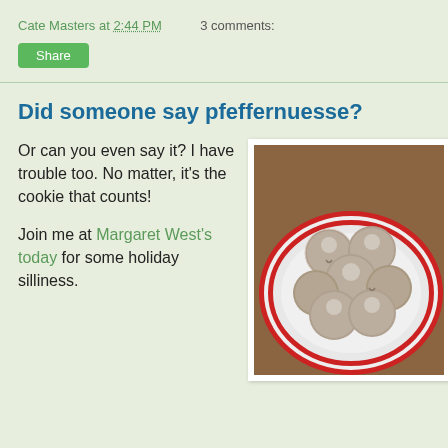Cate Masters at 2:44 PM   3 comments:
Share
Did someone say pfeffernuesse?
Or can you even say it? I have trouble too. No matter, it's the cookie that counts!

Join me at Margaret West's today for some holiday silliness.
[Figure (photo): Photo of powdered sugar-dusted round cookies (pfeffernuesse) piled on a red and white decorative Christmas plate, on a wooden table surface.]